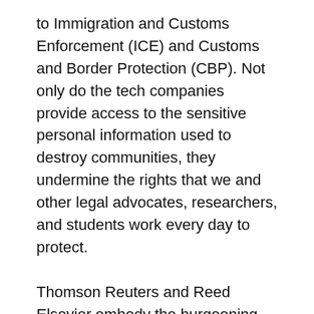to Immigration and Customs Enforcement (ICE) and Customs and Border Protection (CBP). Not only do the tech companies provide access to the sensitive personal information used to destroy communities, they undermine the rights that we and other legal advocates, researchers, and students work every day to protect.
Thomson Reuters and Reed Elsevier embody the burgeoning contradictions of technology companies that, in the same breath, claim to be in the business of public service, while enabling government agencies to engage in wildly unconstitutional tactics to arrest and incarcerate people in deadly conditions